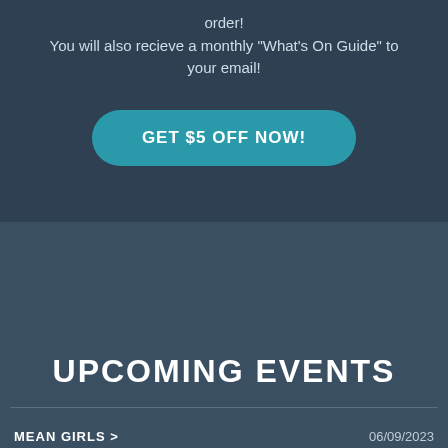order!
You will also recieve a monthly "What's On Guide" to your email!
GET $5 OFF NOW!
UPCOMING EVENTS
MEAN GIRLS >
06/09/2023